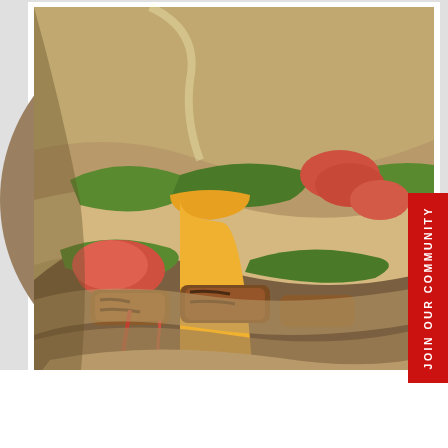[Figure (photo): Close-up photograph of two chicken wraps/burritos cut in half and stacked, showing fillings including grilled chicken, lettuce, tomato, cheese, and sauce wrapped in a flour tortilla. A red vertical tab on the right side reads 'JOIN OUR COMMUNITY'.]